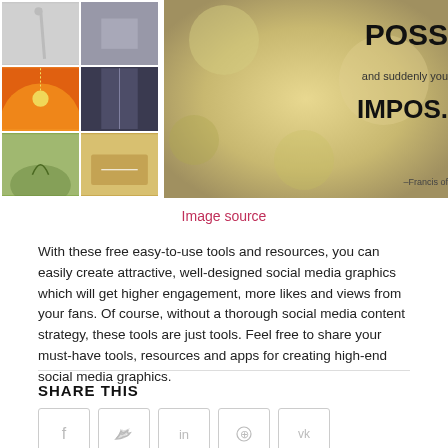[Figure (photo): Collage of six photos on left (including a golf club, hands with US flag, dandelion sunset, bridge, running person, notebook/pen) plus a large inspirational quote image on right showing 'POSS... and suddenly you IMPOS...' attributed to Francis of Assisi or similar, with bokeh background]
Image source
With these free easy-to-use tools and resources, you can easily create attractive, well-designed social media graphics which will get higher engagement, more likes and views from your fans. Of course, without a thorough social media content strategy, these tools are just tools. Feel free to share your must-have tools, resources and apps for creating high-end social media graphics.
SHARE THIS
[Figure (infographic): Five social media share buttons: Facebook (f), Twitter (bird), LinkedIn (in), Pinterest (p), VK (VK)]